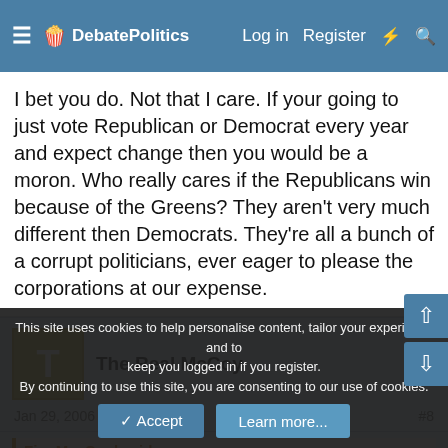DebatePolitics — Log in | Register
I bet you do. Not that I care. If your going to just vote Republican or Democrat every year and expect change then you would be a moron. Who really cares if the Republicans win because of the Greens? They aren't very much different then Democrats. They're all a bunch of a corrupt politicians, ever eager to please the corporations at our expense.
The Real McCoy
Jan 29, 2006  #8
FinnMacCool said:
I bet you do. Not that I care. If your going to just vote Republi...
This site uses cookies to help personalise content, tailor your experience and to keep you logged in if you register.
By continuing to use this site, you are consenting to our use of cookies.